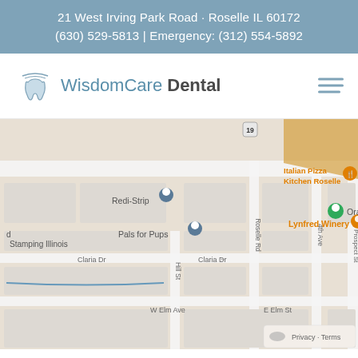21 West Irving Park Road · Roselle IL 60172
(630) 529-5813 | Emergency: (312) 554-5892
[Figure (logo): WisdomCare Dental logo with tooth icon and blue text]
[Figure (map): Google Maps screenshot showing the area around 21 West Irving Park Road, Roselle IL 60172, with nearby landmarks including Redi-Strip, Pals for Pups, Lynfred Winery, Italian Pizza Kitchen Roselle, and Orange. Streets visible include Claria Dr, Hill St, W Elm Ave, E Elm St, Roselle Rd, 4th Ave, S Prospect St.]